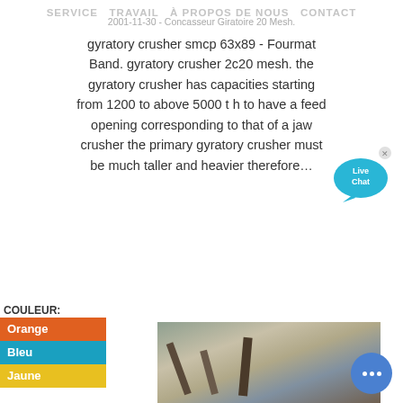SERVICE TRAVAIL À PROPOS DE NOUS CONTACT
2001-11-30 - Concasseur Giratoire 20 Mesh. gyratory crusher smcp 63x89 - Fourmat Band. gyratory crusher 2c20 mesh. the gyratory crusher has capacities starting from 1200 to above 5000 t h to have a feed opening corresponding to that of a jaw crusher the primary gyratory crusher must be much taller and heavier therefore…
Plus de détails
COULEUR:
Orange
Bleu
Jaune
[Figure (photo): Outdoor photo of mining/crushing machinery with conveyor arms in a desert landscape with hills in the background]